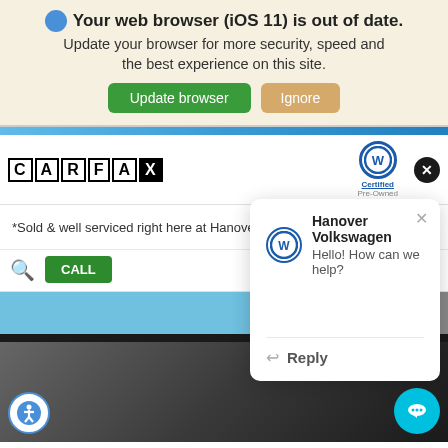[Figure (screenshot): Browser update warning banner with globe icon, bold text 'Your web browser (iOS 11) is out of date.', subtitle text, and two buttons: 'Update browser' (green) and 'Ignore' (tan/gold)]
[Figure (screenshot): Carfax logo with individual letter boxes, VW Certified Pre-Owned badge, close X button, sold & serviced text row with orange plus icon, search icon, green CALL button, and a chat popup from Hanover Volkswagen saying 'Hello! How can we help?' with a Reply prompt. Bottom navigation bar with Search, Filter, Saved, and phone icons. Accessibility button and chat FAB at bottom.]